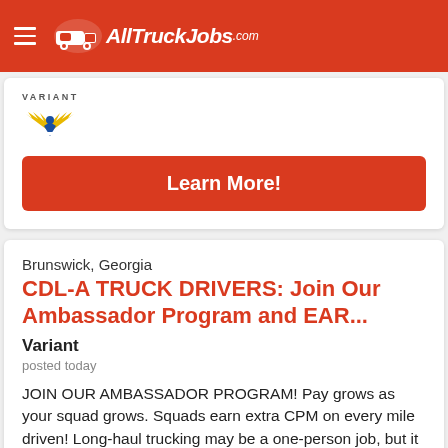AllTruckJobs.com
[Figure (logo): Variant company logo with stylized eagle/wings in yellow and blue, text 'VARIANT' above]
Learn More!
Brunswick, Georgia
CDL-A TRUCK DRIVERS: Join Our Ambassador Program and EAR...
Variant
posted today
JOIN OUR AMBASSADOR PROGRAM! Pay grows as your squad grows. Squads earn extra CPM on every mile driven! Long-haul trucking may be a one-person job, but it doesn't have to be a lonely one.